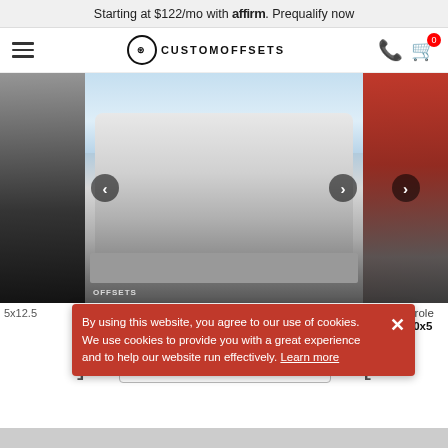Starting at $122/mo with affirm. Prequalify now
Custom Offsets — navigation header with hamburger menu, logo, phone and cart icons
[Figure (screenshot): Carousel of truck photos: left partial dark truck, center 2011 Chevrolet Silverado 2500 HD white lifted truck, right partial red truck. Previous and next arrow buttons visible.]
2011 Chevrolet Silverado 2500 HD
Hostile Havoc 20x10 -19
Nitto NT4
5x12.5
2011 Chevrole
RBP 75r 20x5
By using this website, you agree to our use of cookies. We use cookies to provide you with a great experience and to help our website run effectively. Learn more
View Truck
Bottom gray bar